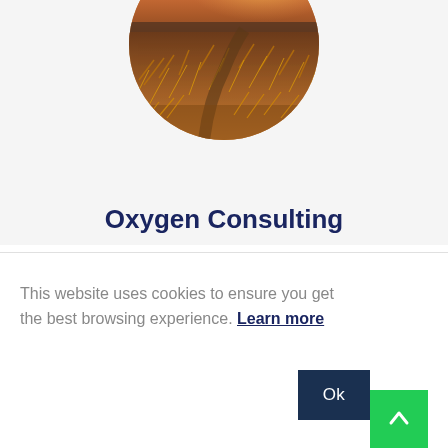[Figure (photo): Circular cropped landscape photo showing coastal dunes with golden grass in the foreground and a sunset sky with orange and golden hues in the background, with a sandy path visible.]
Oxygen Consulting
This website uses cookies to ensure you get the best browsing experience. Learn more